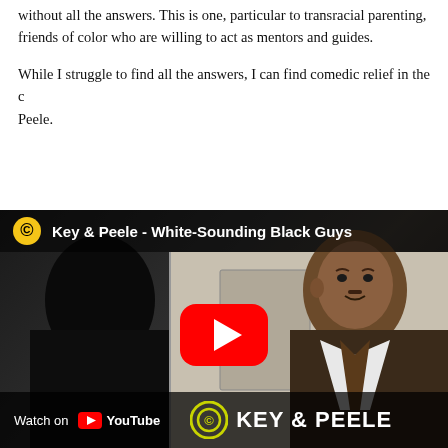without all the answers. This is one, particular to transracial parenting, friends of color who are willing to act as mentors and guides.
While I struggle to find all the answers, I can find comedic relief in the c... Peele.
[Figure (screenshot): Embedded YouTube video thumbnail for 'Key & Peele - White-Sounding Black Guys' from Comedy Central. Shows two men facing each other in an elevator/hallway scene. Red YouTube play button in the center. Bottom bar shows Comedy Central logo, 'KEY & PEELE' text, and 'Watch on YouTube' link.]